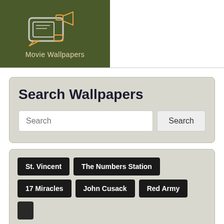[Figure (logo): Movie Wallpapers logo: dark olive green background with a white video camera icon and orange accent, text reads 'Movie Wallpapers']
Search Wallpapers
Search input field with Search button
St. Vincent
The Numbers Station
17 Miracles
John Cusack
Red Army